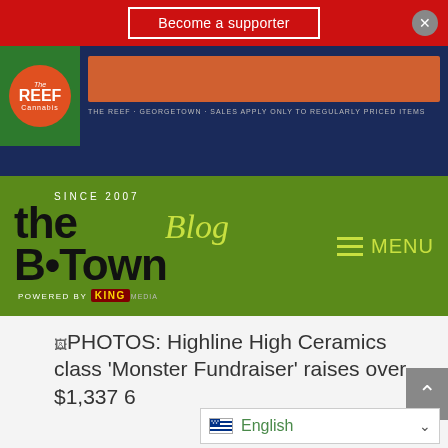[Figure (screenshot): Red banner with 'Become a supporter' button and close X button]
[Figure (logo): The Reef Cannabis dispensary advertisement banner on dark navy background with orange bar and text 'THE REEF · GEORGETOWN · SALES APPLY ONLY TO REGULARLY PRICED ITEMS']
[Figure (logo): B-Town Blog logo with 'Since 2007', powered by King Media, on green background, with MENU hamburger icon]
PHOTOS: Highline High Ceramics class 'Monster Fundraiser' raises over $1,337 6
[Figure (screenshot): English language selector dropdown with US flag]
[Figure (other): Gray scroll-to-top arrow button on right side]